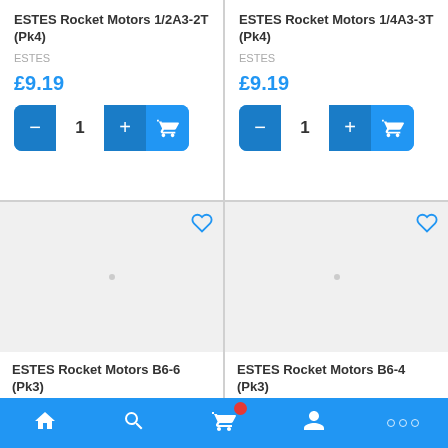ESTES Rocket Motors 1/2A3-2T (Pk4)
ESTES
£9.19
ESTES Rocket Motors 1/4A3-3T (Pk4)
ESTES
£9.19
ESTES Rocket Motors B6-6 (Pk3)
ESTES Rocket Motors B6-4 (Pk3)